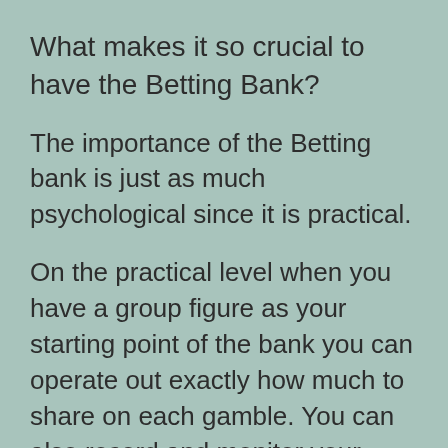What makes it so crucial to have the Betting Bank?
The importance of the Betting bank is just as much psychological since it is practical.
On the practical level when you have a group figure as your starting point of the bank you can operate out exactly how much to share on each gamble. You can also record and monitor your success, as you see the initial bank grow or decrease.